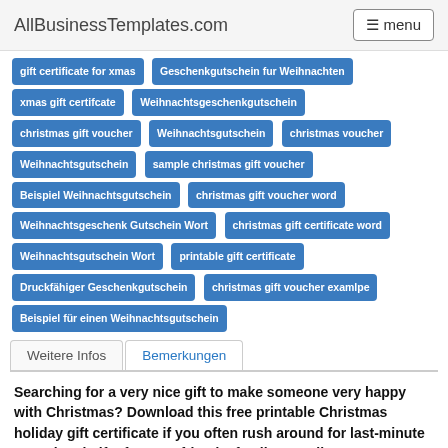AllBusinessTemplates.com  menu
gift certificate for xmas
Geschenkgutschein fur Weihnachten
xmas gift certifcate
Weihnachtsgeschenkgutschein
christmas gift voucher
Weihnachtsgutschein
christmas voucher
Weihnachtsgutschein
sample christmas gift voucher
Beispiel Weihnachtsgutschein
christmas gift voucher word
Weihnachtsgeschenk Gutschein Wort
christmas gift certificate word
Weihnachtsgutschein Wort
printable gift certificate
Druckfähiger Geschenkgutschein
christmas gift voucher examlpe
Beispiel für einen Weihnachtsgutschein
Weitere Infos
Bemerkungen
Searching for a very nice gift to make someone very happy with Christmas? Download this free printable Christmas holiday gift certificate if you often rush around for last-minute occasional gifts for your friends, family, or colleagues!
This easy-to-use as a Christmas gift certificate ensures that you have an ideal solution for all your last-minute, too expensive or too ...